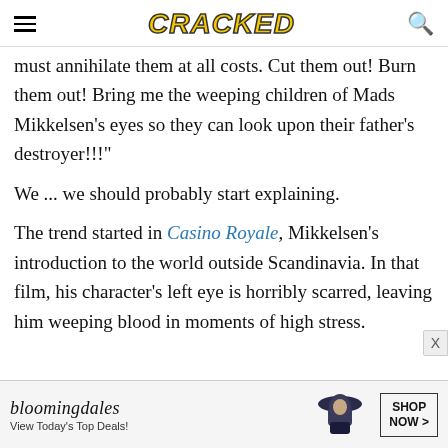CRACKED (logo)
must annihilate them at all costs. Cut them out! Burn them out! Bring me the weeping children of Mads Mikkelsen's eyes so they can look upon their father's destroyer!!!"
We ... we should probably start explaining.
The trend started in Casino Royale, Mikkelsen's introduction to the world outside Scandinavia. In that film, his character's left eye is horribly scarred, leaving him weeping blood in moments of high stress.
[Figure (screenshot): Bloomingdale's advertisement banner: 'bloomingdales / View Today's Top Deals!' with a woman in a wide-brim hat and a 'SHOP NOW >' button]